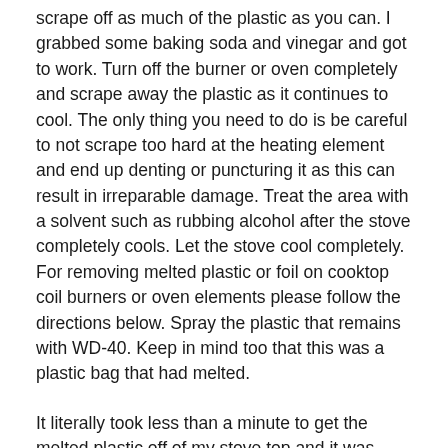scrape off as much of the plastic as you can. I grabbed some baking soda and vinegar and got to work. Turn off the burner or oven completely and scrape away the plastic as it continues to cool. The only thing you need to do is be careful to not scrape too hard at the heating element and end up denting or puncturing it as this can result in irreparable damage. Treat the area with a solvent such as rubbing alcohol after the stove completely cools. Let the stove cool completely. For removing melted plastic or foil on cooktop coil burners or oven elements please follow the directions below. Spray the plastic that remains with WD-40. Keep in mind too that this was a plastic bag that had melted.
It literally took less than a minute to get the melted plastic off of my stove top and it was soooo easy. As the plastic is transferred to the wooden utensil use a paper towel to wipe the wooden tool so that the melted plastic is not transferred back onto the burner. Let your stovetop cool completely. Turn off the burner or oven completely and scrape away the plastic as it continues to cool. How do you get burnt plastic off a stove burner You can put water in a pan or your sink and add a strong cleanser like Ajax or Barkeepers Friend and place the burner in the water to soak overnight. After working on it